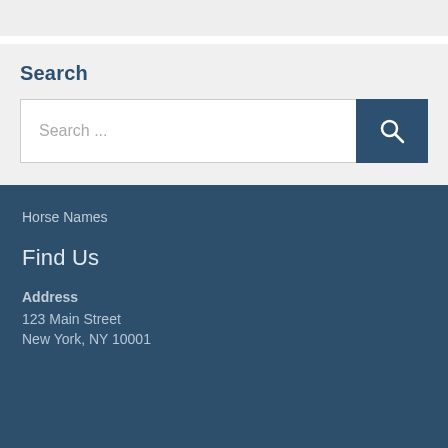Search
Search ...
Horse Names
Find Us
Address
123 Main Street
New York, NY 10001